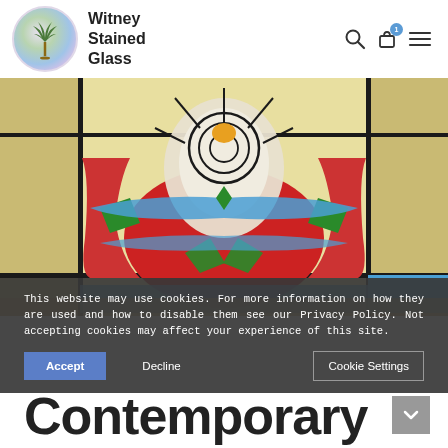Witney Stained Glass
[Figure (photo): Close-up photo of a stained glass panel with red, green, blue, gold and white colored glass segments forming a decorative floral/geometric pattern with lead came lines]
This website may use cookies. For more information on how they are used and how to disable them see our Privacy Policy. Not accepting cookies may affect your experience of this site.
Accept   Decline   Cookie Settings
Contemporary and Abstract